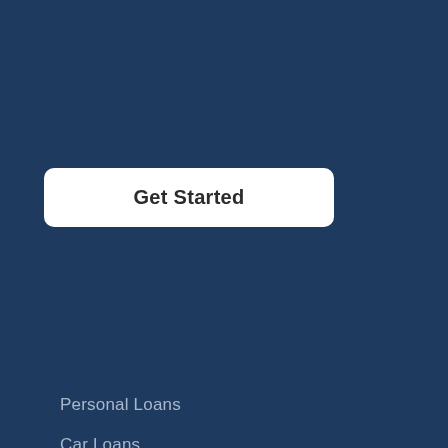[Figure (other): White rounded rectangle button with bold text 'Get Started' on a dark navy blue background]
Personal Loans
Car Loans
Holiday Loans
Emergency Loans
Car Repair Loans
Wedding Loans
Medical Loans
Renovation Loans